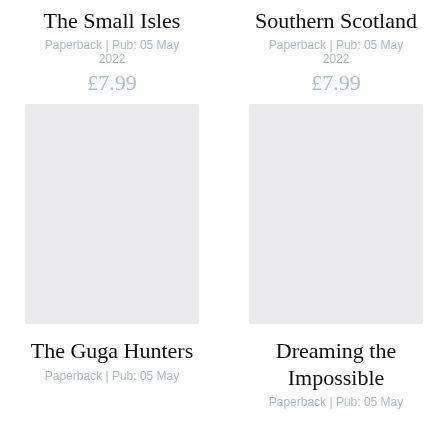The Small Isles
Paperback | Pub: 05 May
2022
£7.99
Southern Scotland
Paperback | Pub: 05 May
2022
£7.99
[Figure (illustration): Placeholder book cover image (light grey rectangle) for The Guga Hunters]
[Figure (illustration): Placeholder book cover image (light grey rectangle) for Dreaming the Impossible]
The Guga Hunters
Paperback | Pub: 05 May
Dreaming the Impossible
Paperback | Pub: 05 May